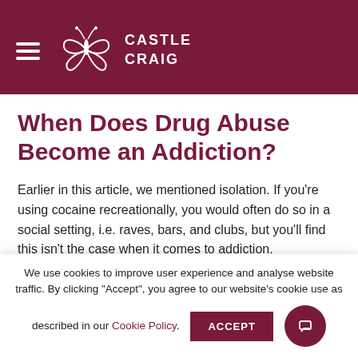Castle Craig
When Does Drug Abuse Become an Addiction?
Earlier in this article, we mentioned isolation. If you're using cocaine recreationally, you would often do so in a social setting, i.e. raves, bars, and clubs, but you'll find this isn't the case when it comes to addiction.
We use cookies to improve user experience and analyse website traffic. By clicking "Accept", you agree to our website's cookie use as described in our Cookie Policy.